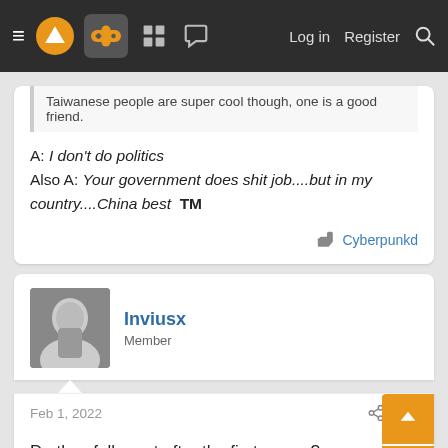≡ [logo] [gamepad] [grid] [chat] Log in Register [search]
Taiwanese people are super cool though, one is a good friend.
A: I don't do politics
Also A: Your government does shit job....but in my country....China best ™
Cyberpunkd
Inviusx
Member
Feb 1, 2022
#38
Do they fall apart after the first corner?
Last edited: Feb 1, 2022
JCK75